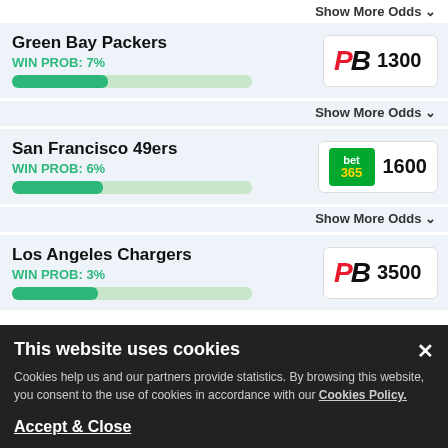Show More Odds ∨
Green Bay Packers
WIN PROB: 7%
[progress bar ~40%]
PB 1300
Show More Odds ∨
San Francisco 49ers
WIN PROB: 6%
[progress bar ~38%]
bet365 1600
Show More Odds ∨
Los Angeles Chargers
WIN PROB: 3%
[progress bar ~36%]
PB 3500
This website uses cookies
Cookies help us and our partners provide statistics. By browsing this website, you consent to the use of cookies in accordance with our Cookies Policy.
Accept & Close